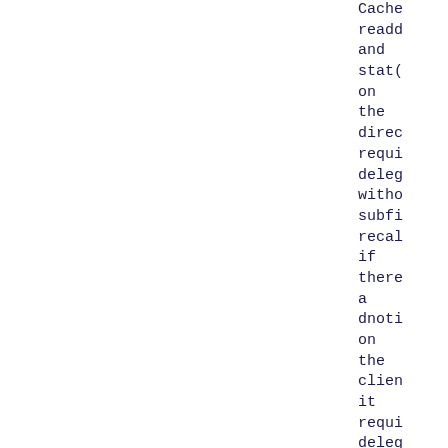Cache readd and stat( on the direc requi deleg witho subfi recal if there a dnoti on the clien it requi deleg with recal An uber- cool capab would